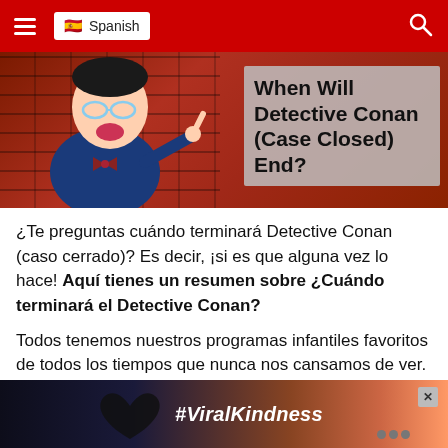Spanish
[Figure (illustration): Hero image showing Detective Conan character against a brick wall background with semi-transparent text overlay reading 'When Will Detective Conan (Case Closed) End?']
¿Te preguntas cuándo terminará Detective Conan (caso cerrado)? Es decir, ¡si es que alguna vez lo hace! Aquí tienes un resumen sobre ¿Cuándo terminará el Detective Conan?
Todos tenemos nuestros programas infantiles favoritos de todos los tiempos que nunca nos cansamos de ver. Y Detective Conan (Caso Cerrado) es ciertamente uno de la.
[Figure (infographic): Advertisement banner with heart hands silhouette against sunset sky, text #ViralKindness]